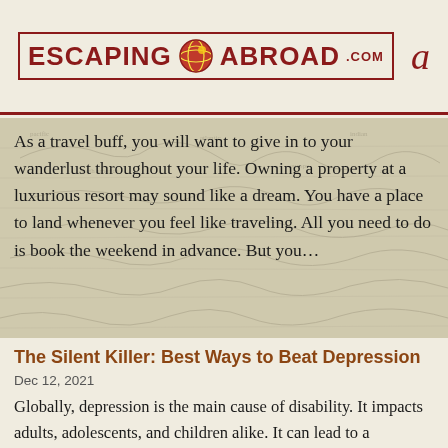ESCAPING ABROAD .com | a
As a travel buff, you will want to give in to your wanderlust throughout your life. Owning a property at a luxurious resort may sound like a dream. You have a place to land whenever you feel like traveling. All you need to do is book the weekend in advance. But you…
The Silent Killer: Best Ways to Beat Depression
Dec 12, 2021
Globally, depression is the main cause of disability. It impacts adults, adolescents, and children alike. It can lead to a decreased quality of life, worsened mood, lowered productivity, social distancing, and